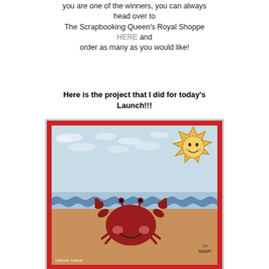you are one of the winners, you can always head over to The Scrapbooking Queen's Royal Shoppe HERE and order as many as you would like!
Here is the project that I did for today's Launch!!!
[Figure (photo): A handmade scrapbook card featuring a cute red crab on a beach scene with waves and a smiling sun in the upper right corner. Text reads 'Oh SNAP!' in the lower right and 'CRICUT CHICK' in the lower left.]